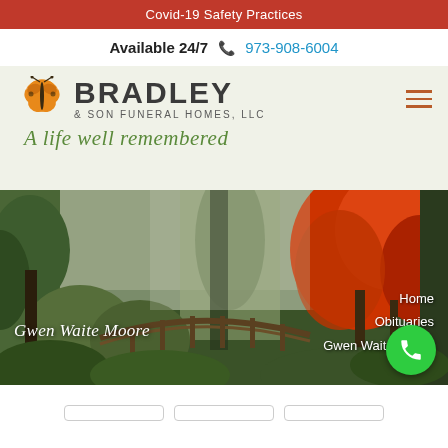Covid-19 Safety Practices
Available 24/7  📞 973-908-6004
[Figure (logo): Bradley & Son Funeral Homes, LLC logo with butterfly and tagline 'A life well remembered']
[Figure (photo): Hero image of a Japanese garden with wooden bridge, autumn foliage in red and green trees with misty background. Overlaid text: 'Gwen Waite Moore' on left, 'Home / Obituaries / Gwen Waite Moore' breadcrumb on right.]
Gwen Waite Moore
Home
Obituaries
Gwen Waite Moore